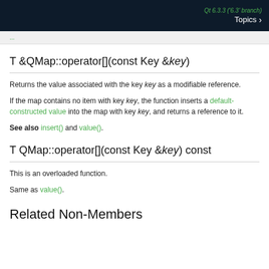Qt 6.3.3 ('6.3' branch) Topics
...
T &QMap::operator[](const Key &key)
Returns the value associated with the key key as a modifiable reference.
If the map contains no item with key key, the function inserts a default-constructed value into the map with key key, and returns a reference to it.
See also insert() and value().
T QMap::operator[](const Key &key) const
This is an overloaded function.
Same as value().
Related Non-Members